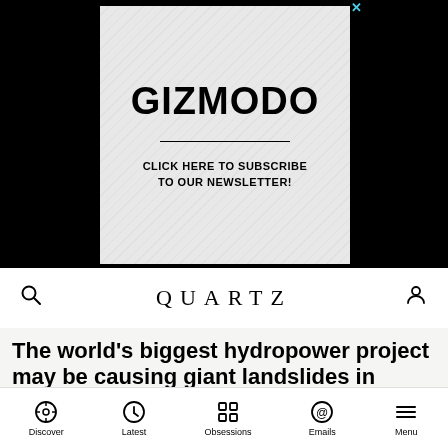[Figure (other): Gizmodo advertisement banner with diagonal stripe background pattern, bold GIZMODO logo, horizontal divider, and text 'CLICK HERE TO SUBSCRIBE TO OUR NEWSLETTER!']
QUARTZ
The world's biggest hydropower project may be causing giant landslides in China
Discover  Latest  Obsessions  Emails  Menu